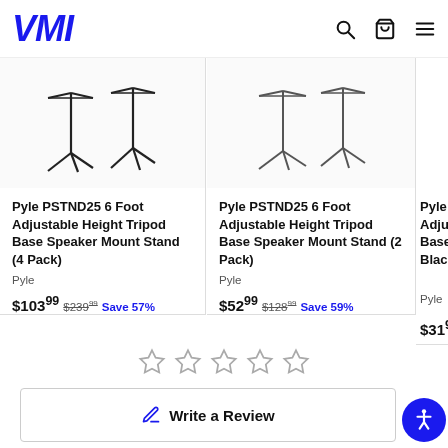VMI
[Figure (photo): Product image of two black tripod speaker stands for 4-pack listing]
Pyle PSTND25 6 Foot Adjustable Height Tripod Base Speaker Mount Stand (4 Pack)
Pyle
$103.99  $239.99  Save 57%
[Figure (photo): Product image of two white/grey tripod speaker stands for 2-pack listing]
Pyle PSTND25 6 Foot Adjustable Height Tripod Base Speaker Mount Stand (2 Pack)
Pyle
$52.99  $128.99  Save 59%
Pyle PSTND25 6 Foot Adjustable Height Tripod Base Speaker Mount Stand Black
Pyle
$31.99
[Figure (other): Five empty star rating icons for customer review]
Write a Review